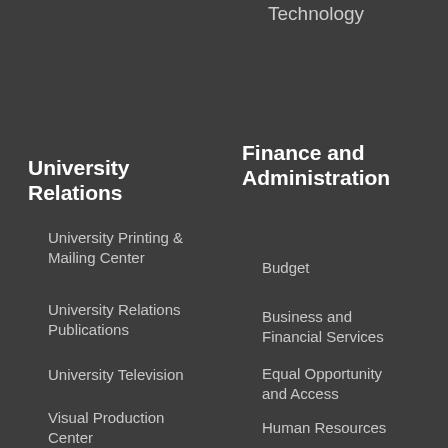Technology
University Relations
University Printing & Mailing Center
University Relations Publications
University Television
Visual Production Center
Higher Education Act
Policies & Procedures
Finance and Administration
Budget
Business and Financial Services
Equal Opportunity and Access
Human Resources
Purchasing
Campus Directory